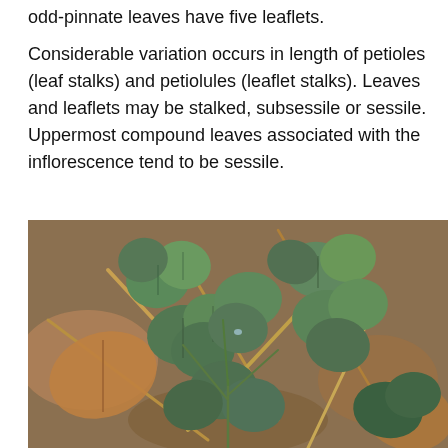odd-pinnate leaves have five leaflets.
Considerable variation occurs in length of petioles (leaf stalks) and petiolules (leaflet stalks). Leaves and leaflets may be stalked, subsessile or sessile. Uppermost compound leaves associated with the inflorescence tend to be sessile.
[Figure (photo): Close-up photograph of green plant leaves with rounded leaflets growing among dried brown leaves and plant debris on the ground.]